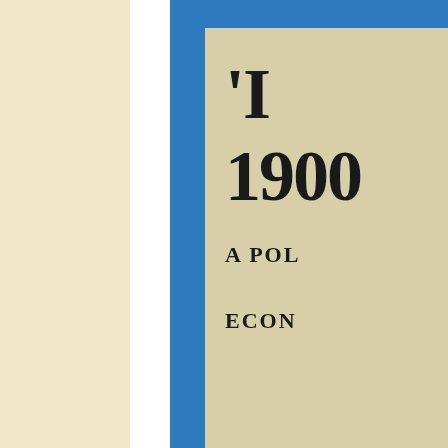[Figure (photo): Photograph of a book cover showing a blue-bordered book with a cream/tan cover. Partially visible text on the cover includes what appears to start with a quotation mark and letter, then '1900' on the next line, then 'A POL' (partially cut off), and 'ECON' (partially cut off). The scene also shows a pale yellow background on the left and a white strip between the background and the blue book border.]